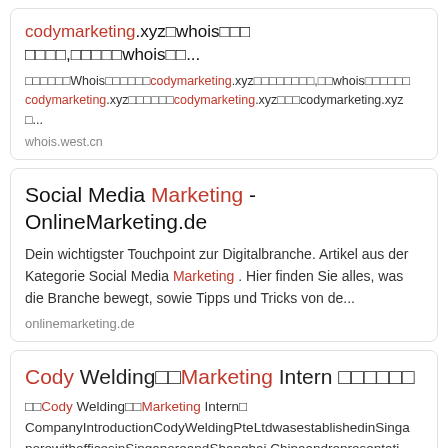codymarketing.xyz whois查询 结果 查询,注册信息whois查...
通过西部数码Whois查询工具查询codymarketing.xyz的注册信息，包whois注册信息 codymarketing.xyz如何注册codymarketing.xyz，codymarketing.xyz注...
whois.west.cn
Social Media Marketing - OnlineMarketing.de
Dein wichtigster Touchpoint zur Digitalbranche. Artikel aus der Kategorie Social Media Marketing . Hier finden Sie alles, was die Branche bewegt, sowie Tipps und Tricks von de...
onlinemarketing.de
Cody Welding营销Marketing Intern 招聘信息
招聘Cody Welding营销Marketing Intern职位 CompanyIntroductionCodyWeldingPteLtdwasestablishedinSingaporewithofficesinSingaporeandShanghai,Chinaandrepresentati...